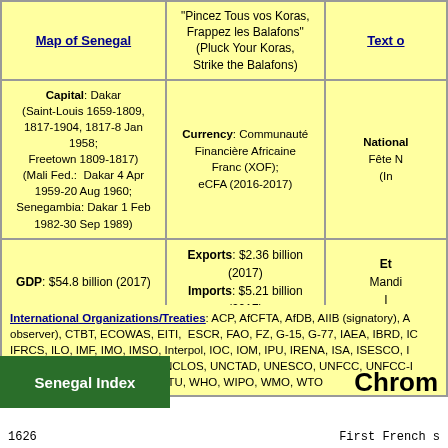| Map of Senegal | Anthem / Currency | Text of... |
| --- | --- | --- |
| Map of Senegal | "Pincez Tous vos Koras, Frappez les Balafons" (Pluck Your Koras, Strike the Balafons) | Text o... |
| Capital: Dakar (Saint-Louis 1659-1809, 1817-1904, 1817-8 Jan 1958; Freetown 1809-1817) (Mali Fed.: Dakar 4 Apr 1959-20 Aug 1960; Senegambia: Dakar 1 Feb 1982-30 Sep 1989) | Currency: Communauté Financière Africaine Franc (XOF); eCFA (2016-2017) | National... Fête N... (In... |
| GDP: $54.8 billion (2017) | Exports: $2.36 billion (2017) Imports: $5.21 billion (2017) | Et... Mandi... I... |
| Total Active Armed Forces: 13,620 (2010) French Troops: 350 (2016) Merchant marine: 32 ships (2019) |  | Rel... |
International Organizations/Treaties: ACP, AfCFTA, AfDB, AIIB (signatory), A... observer), CTBT, ECOWAS, EITI, ESCR, FAO, FZ, G-15, G-77, IAEA, IBRD, IC... IFRCS, ILO, IMF, IMO, IMSO, Interpol, IOC, IOM, IPU, IRENA, ISA, ISESCO, I... OIC, OIF, OPCW, PCA, UN, UNCLOS, UNCTAD, UNESCO, UNFCC, UNFCC-I... (regional), WAEMU, WCO, WFTU, WHO, WIPO, WMO, WTO
Senegal Index
Chrom...
1626   First French s...